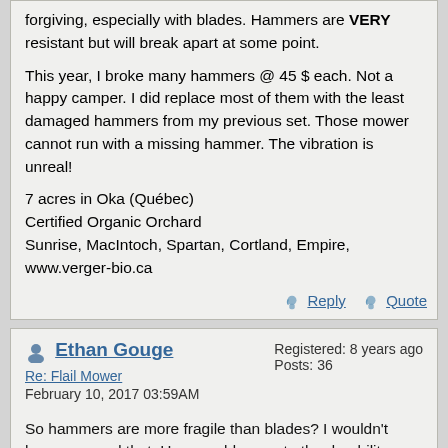forgiving, especially with blades. Hammers are VERY resistant but will break apart at some point.

This year, I broke many hammers @ 45 $ each. Not a happy camper. I did replace most of them with the least damaged hammers from my previous set. Those mower cannot run with a missing hammer. The vibration is unreal!

7 acres in Oka (Québec)
Certified Organic Orchard
Sunrise, MacIntoch, Spartan, Cortland, Empire,
www.verger-bio.ca
Reply | Quote
Ethan Gouge
Re: Flail Mower
February 10, 2017 03:59AM
Registered: 8 years ago
Posts: 36
So hammers are more fragile than blades? I wouldn't have guessed that. How would you rate the durability verses a bushing?